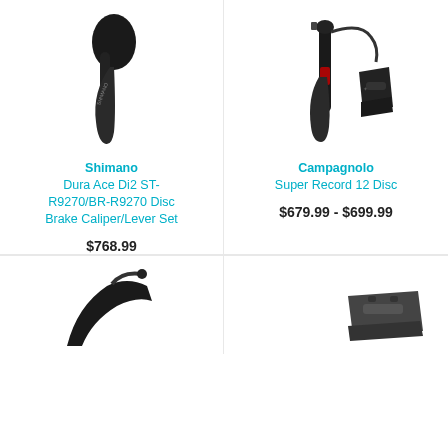[Figure (photo): Shimano Dura Ace Di2 brake lever/caliper set, black, side view]
Shimano
Dura Ace Di2 ST-R9270/BR-R9270 Disc Brake Caliper/Lever Set
$768.99
[Figure (photo): Campagnolo Super Record 12 Disc brake lever and caliper set, black]
Campagnolo
Super Record 12 Disc
$679.99 - $699.99
[Figure (photo): Partial view of a bicycle brake lever/shifter, black, bottom-left corner]
[Figure (photo): Partial view of bicycle brake component, bottom-right corner]